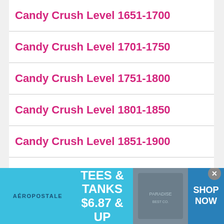Candy Crush Level 1651-1700
Candy Crush Level 1701-1750
Candy Crush Level 1751-1800
Candy Crush Level 1801-1850
Candy Crush Level 1851-1900
Candy Crush Level 1901-1950
Candy Crush Level 1951-2000
[Figure (other): Aeropostale advertisement banner: TEES & TANKS $6.87 & UP with SHOP NOW button]